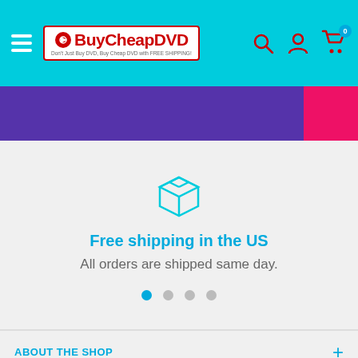BuyCheapDVD — Don't Just Buy DVD, Buy Cheap DVD with FREE SHIPPING!
[Figure (screenshot): Purple and pink banner image below the navigation header]
[Figure (infographic): Box/package icon in cyan color for Free Shipping feature]
Free shipping in the US
All orders are shipped same day.
[Figure (infographic): Four pagination dots, first dot active in cyan color]
ABOUT THE SHOP
SH...
Chat with us